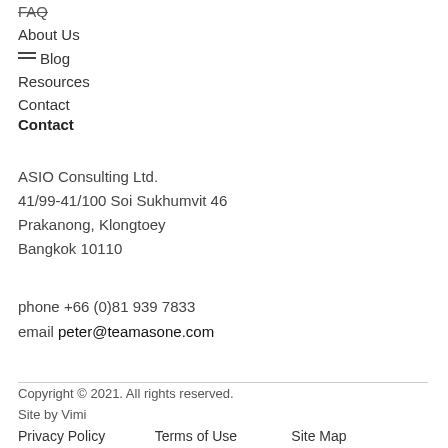FAQ
About Us
Blog
Resources
Contact
Contact
ASIO Consulting Ltd.
41/99-41/100 Soi Sukhumvit 46
Prakanong, Klongtoey
Bangkok 10110
phone +66 (0)81 939 7833
email peter@teamasone.com
Copyright © 2021. All rights reserved.
Site by Vimi
Privacy Policy   Terms of Use   Site Map